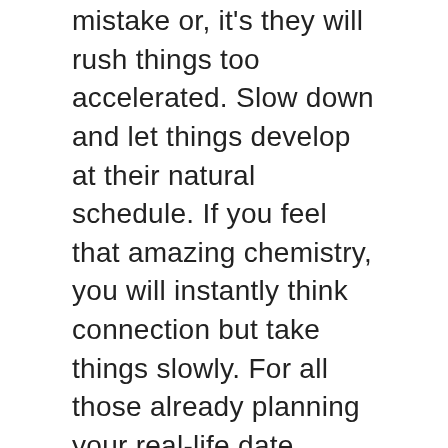mistake or, it's they will rush things too accelerated. Slow down and let things develop at their natural schedule. If you feel that amazing chemistry, you will instantly think connection but take things slowly. For all those already planning your real-life date, arrange to achieve it somewhere public, with the lot of other people around.
Believe it or not children experience stress in addition. Now it may not be the same stress as being a middle-aged parent may have, but it's stress. Provide for them to ease the pain of a lost dog or a broken favorite toy using them outside and letting them indulge Mock-up Police Verification their particular creative world as a little pirate who sails the seven seas on the S.S Recreation space!